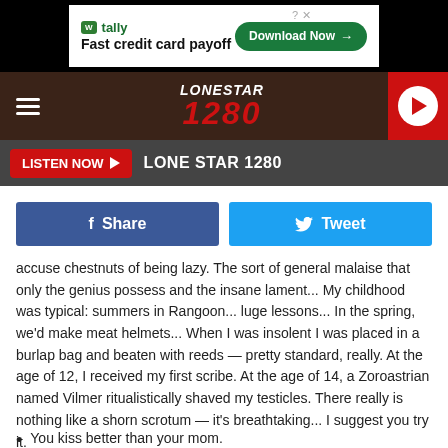[Figure (screenshot): Tally ad banner: 'Fast credit card payoff' with green Download Now button]
LONESTAR 1280
LISTEN NOW  LONE STAR 1280
[Figure (infographic): Facebook Share button and Twitter Tweet button]
accuse chestnuts of being lazy. The sort of general malaise that only the genius possess and the insane lament... My childhood was typical: summers in Rangoon... luge lessons... In the spring, we'd make meat helmets... When I was insolent I was placed in a burlap bag and beaten with reeds — pretty standard, really. At the age of 12, I received my first scribe. At the age of 14, a Zoroastrian named Vilmer ritualistically shaved my testicles. There really is nothing like a shorn scrotum — it's breathtaking... I suggest you try it.
You kiss better than your mom.